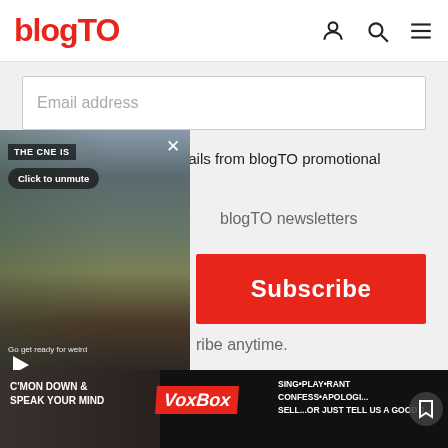blogTO
Email address
I want to receive emails from blogTO promotional partners
blogTO newsletters
Subscribe
ribe anytime.
[Figure (screenshot): Video overlay showing CNE scene with fairground rides and people walking, with 'THE CNE IS' banner, 'Click to unmute' button, close X, caption 'Go get ready for weird', and play button]
[Figure (screenshot): Advertisement banner for VoxBox: 'C'MON DOWN & SPEAK YOUR MIND' with VoxBox logo and 'SING·PLAY·RANT CONFESS·APOLOGIZE SELL...or just tell us a good j...' text]